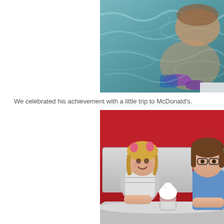[Figure (photo): Person swimming in a pool, visible through the water surface with ripples and reflections. A purple swim cap or accessory is visible.]
We celebrated his achievement with a little trip to McDonald's.
[Figure (photo): Two children sitting in a McDonald's booth with red and white seating. A young blonde girl with pink hair accessories sits next to an older child in a blue shirt. An ice cream sundae or milkshake sits on the table.]